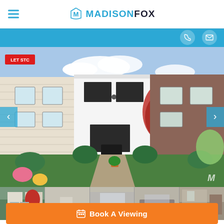[Figure (logo): MadisonFox real estate agency logo with hamburger menu icon on left]
[Figure (photo): Property exterior photo showing a modern white-clad terraced house with a red-leafed tree and garden, labeled LET STC]
[Figure (photo): Strip of 5 thumbnail interior and exterior property photos]
Book A Viewing